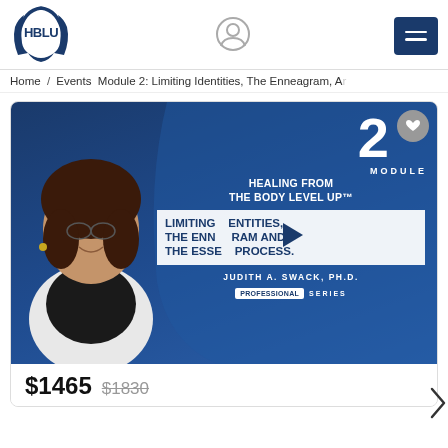[Figure (logo): HBLU logo with hands and text]
[Figure (illustration): User account icon (circle with person silhouette)]
[Figure (illustration): Dark blue hamburger menu button]
Home / Events Module 2: Limiting Identities, The Enneagram, Ar
[Figure (screenshot): Module 2 course thumbnail: Healing From The Body Level Up - Limiting Identities, The Enneagram And The Essential Process. Judith A. Swack, PH.D. Professional Series. Dark blue background with woman's photo and play button.]
$1465 $1830